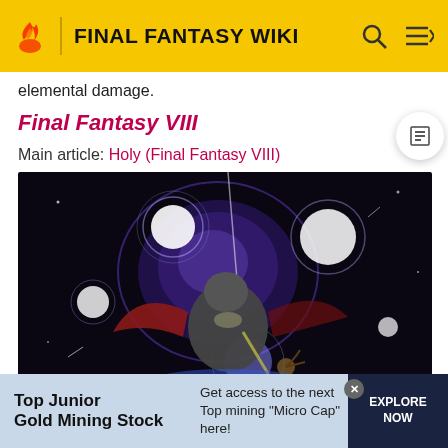FINAL FANTASY WIKI
elemental damage.
Final Fantasy VIII
Main article: Holy (Final Fantasy VIII)
[Figure (screenshot): Final Fantasy VIII in-game screenshot showing a winged creature/deity surrounded by glowing orbs and purple energy effects during the Holy spell animation]
Top Junior Gold Mining Stock   Get access to the next Top mining "Micro Cap" here!   EXPLORE NOW